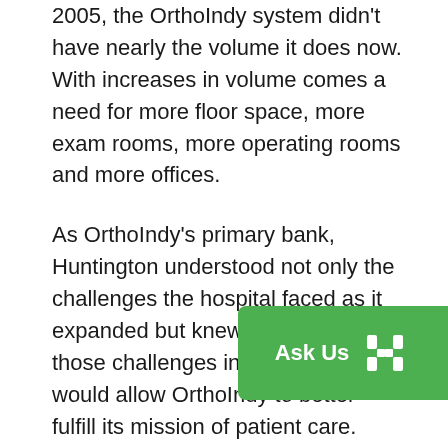2005, the OrthoIndy system didn't have nearly the volume it does now. With increases in volume comes a need for more floor space, more exam rooms, more operating rooms and more offices.
As OrthoIndy's primary bank, Huntington understood not only the challenges the hospital faced as it expanded but knew how to answer those challenges in a way that would allow OrthoIndy to better fulfill its mission of patient care.
“Huntington has been a great bank for us overall, but especially when it has c… expansion projects such as the hosp… now has main, west and south campuses,”
[Figure (logo): Huntington Bank 'Ask Us' chat widget button with green background and Huntington logo]